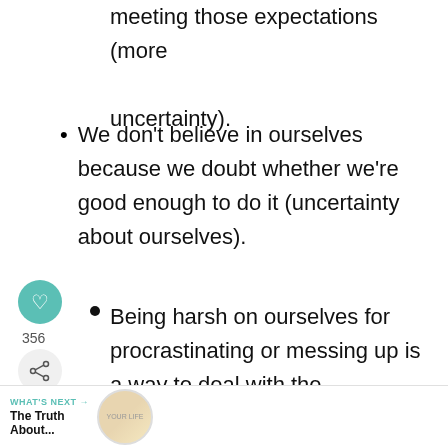meeting those expectations (more uncertainty).
We don't believe in ourselves because we doubt whether we're good enough to do it (uncertainty about ourselves).
Being harsh on ourselves for procrastinating or messing up is a way to deal with the uncertainty that arises when we do these things.
WHAT'S NEXT → The Truth About...